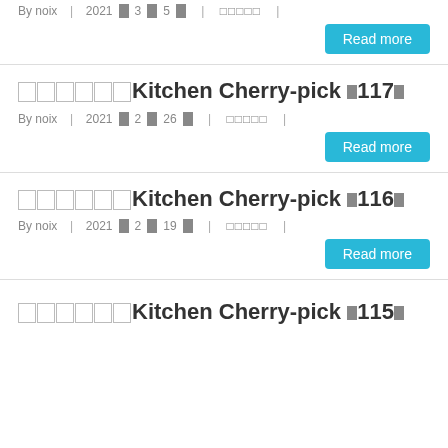By noix | 2021年3月5日 | フォーカス |
Read more
フォーカスKitchen Cherry-pick 第117号
By noix | 2021年2月26日 | フォーカス |
Read more
フォーカスKitchen Cherry-pick 第116号
By noix | 2021年2月19日 | フォーカス |
Read more
フォーカスKitchen Cherry-pick 第115号